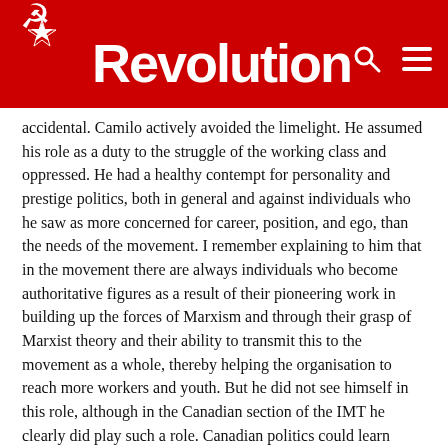Revolution
accidental. Camilo actively avoided the limelight. He assumed his role as a duty to the struggle of the working class and oppressed. He had a healthy contempt for personality and prestige politics, both in general and against individuals who he saw as more concerned for career, position, and ego, than the needs of the movement. I remember explaining to him that in the movement there are always individuals who become authoritative figures as a result of their pioneering work in building up the forces of Marxism and through their grasp of Marxist theory and their ability to transmit this to the movement as a whole, thereby helping the organisation to reach more workers and youth. But he did not see himself in this role, although in the Canadian section of the IMT he clearly did play such a role. Canadian politics could learn much from the humility and anti-careerism of Camilo Cahis.